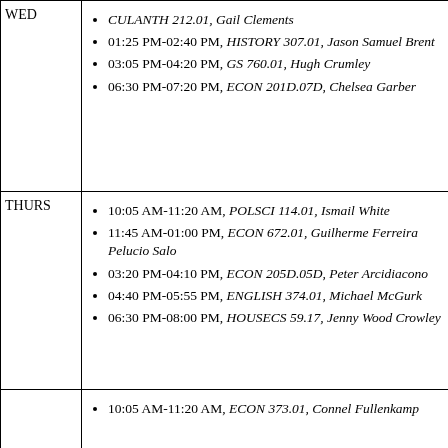| Day | Schedule |
| --- | --- |
| WED | CULANTH 212.01, Gail Clements | 01:25 PM-02:40 PM, HISTORY 307.01, Jason Samuel Brent | 03:05 PM-04:20 PM, GS 760.01, Hugh Crumley | 06:30 PM-07:20 PM, ECON 201D.07D, Chelsea Garber |
| THURS | 10:05 AM-11:20 AM, POLSCI 114.01, Ismail White | 11:45 AM-01:00 PM, ECON 672.01, Guilherme Ferreira Pelucio Salo | 03:20 PM-04:10 PM, ECON 205D.05D, Peter Arcidiacono | 04:40 PM-05:55 PM, ENGLISH 374.01, Michael McGurk | 06:30 PM-08:00 PM, HOUSECS 59.17, Jenny Wood Crowley |
|  | 10:05 AM-11:20 AM, ECON 373.01, Connel Fullenkamp |